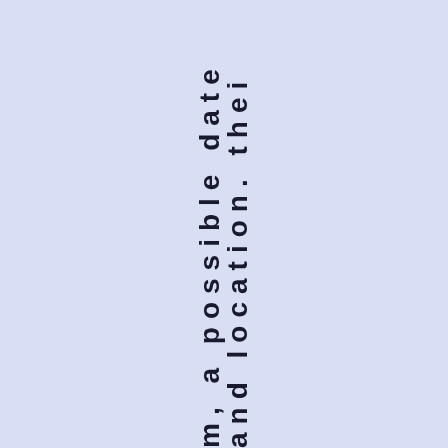m, a possible date and location. thei